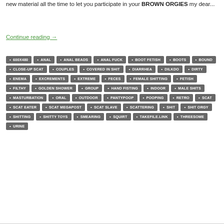new material all the time to let you participate in your BROWN ORGIES my dear...
Continue reading →
600X480
ANAL
ANAL BEADS
ANAL FUCK
BOOT FETISH
BOOTS
BOUND
CLOSE-UP SCAT
COUPLES
COVERED IN SHIT
DIARRHEA
DILKDO
DIRTY
ENEMA
EXCREMENTS
EXTREME
FECES
FEMALE SHITTING
FETISH
FILTHY
GOLDEN SHOWER
GROUP
HAND FISTING
INDOOR
MALE SHITS
MASTURBATION
ORAL
OUTDOOR
PANTYPOOP
POOPING
RETRO
SCAT
SCAT EATER
SCAT MEGAPOST
SCAT SLAVE
SCATTERING
SHIT
SHIT ORGY
SHITTING
SHITTY TOYS
SMEARING
SQUIRT
TAKEFILE.LINK
THREESOME
URINE